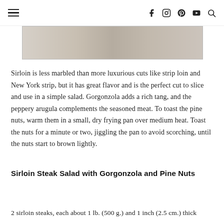≡  f  instagram  pinterest  youtube  search
[Figure (photo): Close-up photo of a knitted or textured fabric surface in gray and beige tones]
Sirloin is less marbled than more luxurious cuts like strip loin and New York strip, but it has great flavor and is the perfect cut to slice and use in a simple salad. Gorgonzola adds a rich tang, and the peppery arugula complements the seasoned meat. To toast the pine nuts, warm them in a small, dry frying pan over medium heat. Toast the nuts for a minute or two, jiggling the pan to avoid scorching, until the nuts start to brown lightly.
Sirloin Steak Salad with Gorgonzola and Pine Nuts
2 sirloin steaks, each about 1 lb. (500 g.) and 1 inch (2.5 cm.) thick